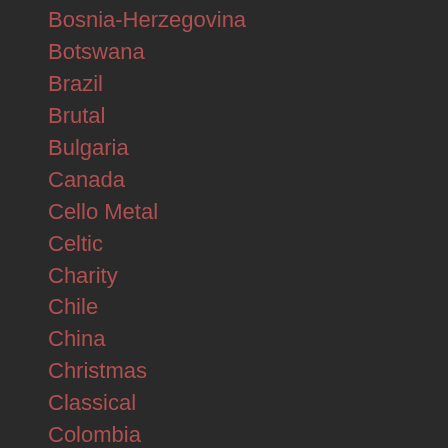Bosnia-Herzegovina
Botswana
Brazil
Brutal
Bulgaria
Canada
Cello Metal
Celtic
Charity
Chile
China
Christmas
Classical
Colombia
Costa Rica
Cover
COVID 19
COVID-19
Croatia
Crossover